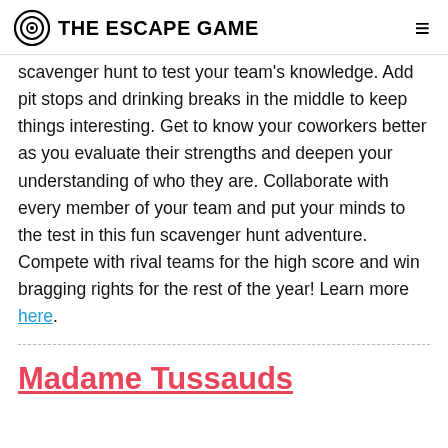THE ESCAPE GAME
scavenger hunt to test your team's knowledge. Add pit stops and drinking breaks in the middle to keep things interesting. Get to know your coworkers better as you evaluate their strengths and deepen your understanding of who they are. Collaborate with every member of your team and put your minds to the test in this fun scavenger hunt adventure. Compete with rival teams for the high score and win bragging rights for the rest of the year! Learn more here.
Madame Tussauds